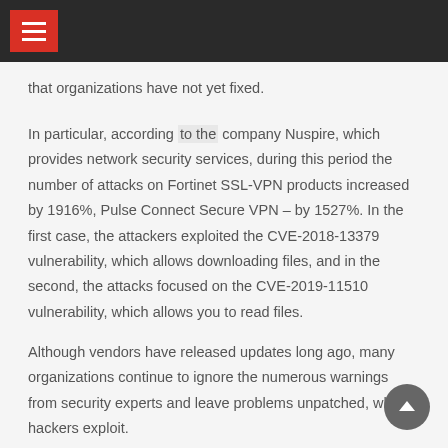that organizations have not yet fixed.
In particular, according to the company Nuspire, which provides network security services, during this period the number of attacks on Fortinet SSL-VPN products increased by 1916%, Pulse Connect Secure VPN – by 1527%. In the first case, the attackers exploited the CVE-2018-13379 vulnerability, which allows downloading files, and in the second, the attacks focused on the CVE-2019-11510 vulnerability, which allows you to read files.
Although vendors have released updates long ago, many organizations continue to ignore the numerous warnings from security experts and leave problems unpatched, which hackers exploit.